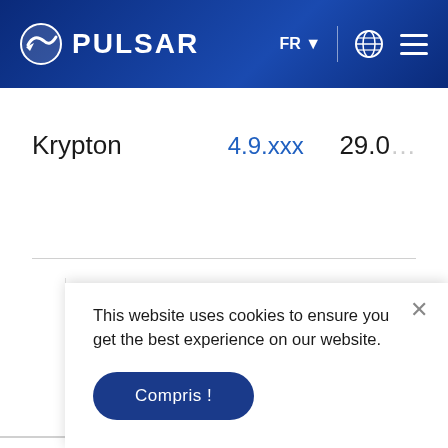PULSAR — FR — (globe) (menu)
| Product | Version | Value |
| --- | --- | --- |
| Krypton | 4.9.xxx | 29.0… |
| Lexion | 4.0.xxx | 23.0… |
This website uses cookies to ensure you get the best experience on our website.
Compris !